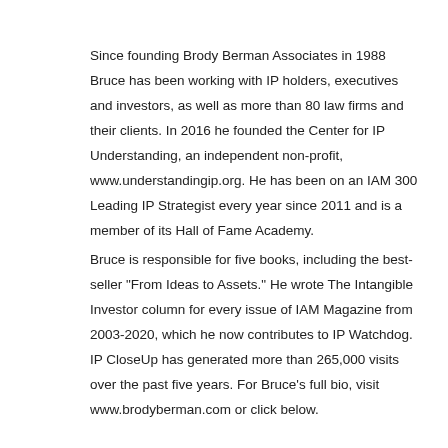Since founding Brody Berman Associates in 1988 Bruce has been working with IP holders, executives and investors, as well as more than 80 law firms and their clients. In 2016 he founded the Center for IP Understanding, an independent non-profit, www.understandingip.org. He has been on an IAM 300 Leading IP Strategist every year since 2011 and is a member of its Hall of Fame Academy.
Bruce is responsible for five books, including the best-seller "From Ideas to Assets." He wrote The Intangible Investor column for every issue of IAM Magazine from 2003-2020, which he now contributes to IP Watchdog. IP CloseUp has generated more than 265,000 visits over the past five years. For Bruce's full bio, visit www.brodyberman.com or click below.